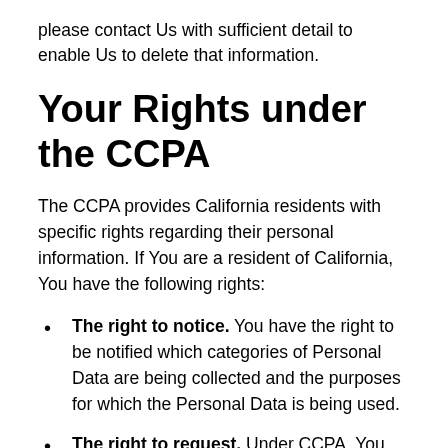please contact Us with sufficient detail to enable Us to delete that information.
Your Rights under the CCPA
The CCPA provides California residents with specific rights regarding their personal information. If You are a resident of California, You have the following rights:
The right to notice. You have the right to be notified which categories of Personal Data are being collected and the purposes for which the Personal Data is being used.
The right to request. Under CCPA, You have the right to request that We disclose information to You